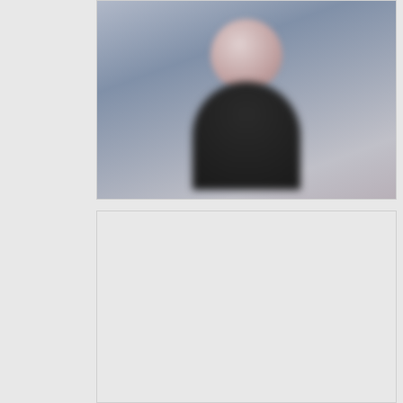[Figure (photo): Blurred/obscured photo of a person at the top of the listing card]
HANNAH
Drop dead gorgeous pretty Leeds escort